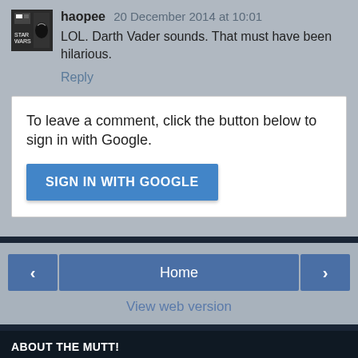haopee 20 December 2014 at 10:01
LOL. Darth Vader sounds. That must have been hilarious.
Reply
To leave a comment, click the button below to sign in with Google.
SIGN IN WITH GOOGLE
Home | View web version
ABOUT THE MUTT!
Unknown
View my complete profile
Powered by Blogger.